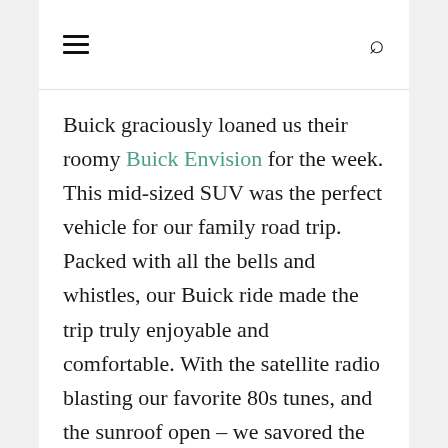≡  🔍
Buick graciously loaned us their roomy Buick Envision for the week. This mid-sized SUV was the perfect vehicle for our family road trip. Packed with all the bells and whistles, our Buick ride made the trip truly enjoyable and comfortable. With the satellite radio blasting our favorite 80s tunes, and the sunroof open – we savored the beauty of amazing blue skies and the wide open roads. The GPS was super helpful, as we had